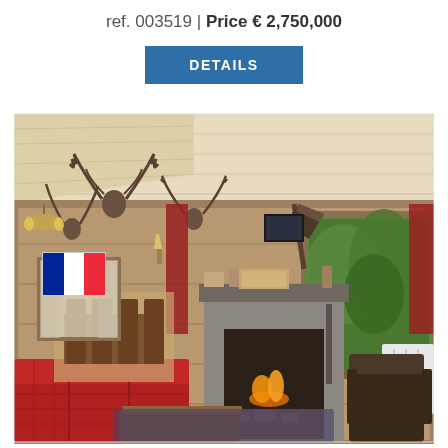ref. 003519 | Price € 2,750,000
DETAILS
[Figure (photo): Interior of a luxury alpine chalet with wooden walls and ceiling, a stone fireplace, red tartan sofas, mounted antler trophies, a dining area with chairs, and a large window overlooking a forested mountain. A French flag is overlaid in the top-left corner of the image.]